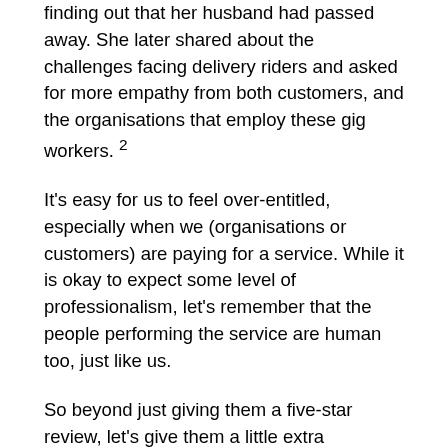finding out that her husband had passed away. She later shared about the challenges facing delivery riders and asked for more empathy from both customers, and the organisations that employ these gig workers. 2
It's easy for us to feel over-entitled, especially when we (organisations or customers) are paying for a service. While it is okay to expect some level of professionalism, let's remember that the people performing the service are human too, just like us.
So beyond just giving them a five-star review, let's give them a little extra appreciation and support.
I am glad that Singaporeans have been playing our part.
Contribute.sg, a ground-up movement supported by the Singapore Kindness Movement, is working with Sengkang Community Club, and IllustrateSG to make appreciation cards for food delivery riders in the Sengkang area in June 2021.
Children from kindergartens will colour these appreciation cards, part of an appreciation pack (including surgical mask